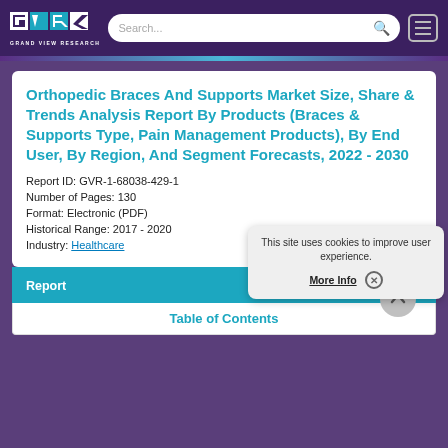Grand View Research — Search bar and navigation menu
Orthopedic Braces And Supports Market Size, Share & Trends Analysis Report By Products (Braces & Supports Type, Pain Management Products), By End User, By Region, And Segment Forecasts, 2022 - 2030
Report ID: GVR-1-68038-429-1
Number of Pages: 130
Format: Electronic (PDF)
Historical Range: 2017 - 2020
Industry: Healthcare
Report
Table of Contents